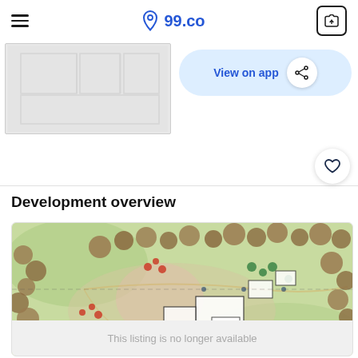99.co
[Figure (other): Blurred floorplan image]
View on app
Development overview
[Figure (map): Landscape development map showing trees, pathways, and building footprints]
This listing is no longer available